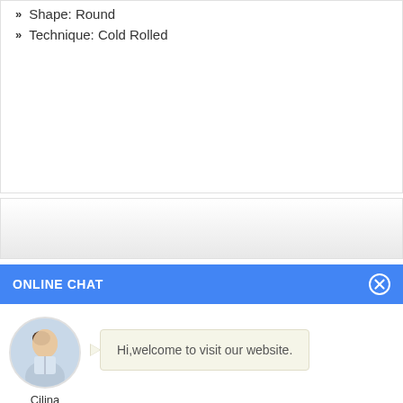Shape: Round
Technique: Cold Rolled
ONLINE CHAT
Hi,welcome to visit our website.
Cilina